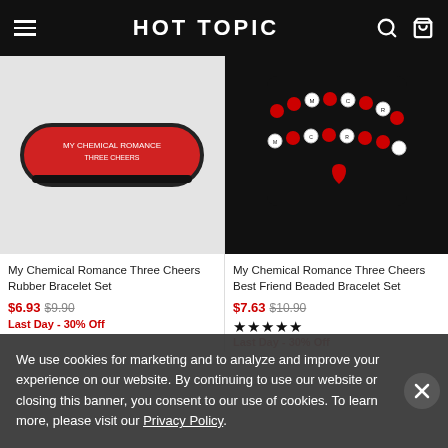HOT TOPIC
[Figure (photo): My Chemical Romance Three Cheers Rubber Bracelet Set product image showing red and black rubber bracelets]
My Chemical Romance Three Cheers Rubber Bracelet Set
$6.93 $9.90
Last Day - 30% Off
[Figure (photo): My Chemical Romance Three Cheers Best Friend Beaded Bracelet Set product image on black background showing red, white, and black beaded bracelets with MCR letter beads]
My Chemical Romance Three Cheers Best Friend Beaded Bracelet Set
$7.63 $10.90
★★★★★
Last Day - 30% Off
We use cookies for marketing and to analyze and improve your experience on our website. By continuing to use our website or closing this banner, you consent to our use of cookies. To learn more, please visit our Privacy Policy.